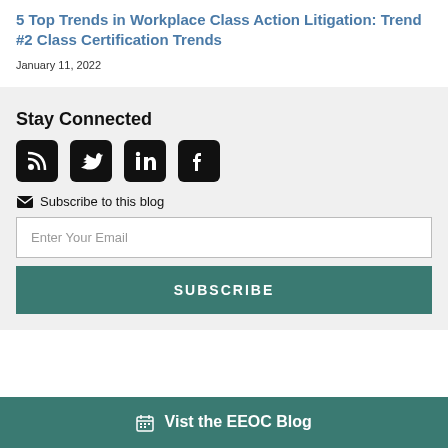5 Top Trends in Workplace Class Action Litigation: Trend #2 Class Certification Trends
January 11, 2022
Stay Connected
[Figure (other): Social media icons: RSS, Twitter, LinkedIn, Facebook]
Subscribe to this blog
Enter Your Email
SUBSCRIBE
Vist the EEOC Blog